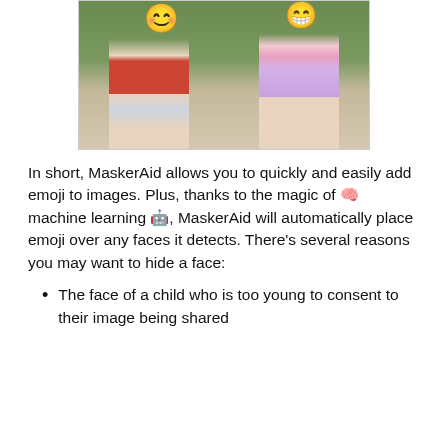[Figure (photo): Two children sitting on a stone ledge outdoors. The boy on the left wears a red t-shirt and grey shorts; the girl on the right wears a pink dress with a necklace and hat. Both faces are covered by emoji: a smiley face emoji over each child.]
In short, MaskerAid allows you to quickly and easily add emoji to images. Plus, thanks to the magic of 🧠 machine learning 🤖, MaskerAid will automatically place emoji over any faces it detects. There's several reasons you may want to hide a face:
The face of a child who is too young to consent to their image being shared